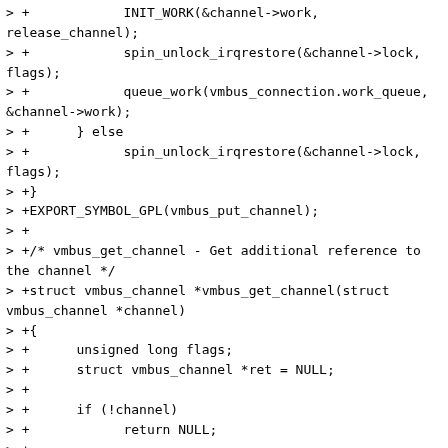> +            INIT_WORK(&channel->work,
release_channel);
> +            spin_unlock_irqrestore(&channel->lock,
flags);
> +            queue_work(vmbus_connection.work_queue,
&channel->work);
> +      } else
> +            spin_unlock_irqrestore(&channel->lock,
flags);
> +}
> +EXPORT_SYMBOL_GPL(vmbus_put_channel);
> +
> +/* vmbus_get_channel - Get additional reference to
the channel */
> +struct vmbus_channel *vmbus_get_channel(struct
vmbus_channel *channel)
> +{
> +      unsigned long flags;
> +      struct vmbus_channel *ret = NULL;
> +
> +      if (!channel)
> +            return NULL;
> +
> +      spin_lock_irqsave(&channel->lock, flags);
> +      if (!channel->dying) {
> +            atomic_inc(&channel->count);
> +            ret = channel;
> +      }
> +      spin_unlock_irqrestore(&channel->lock, flags);
> +      return ret;